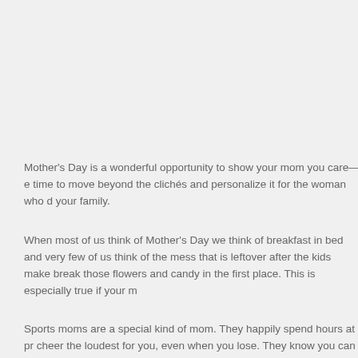Mother's Day is a wonderful opportunity to show your mom you care—e time to move beyond the clichés and personalize it for the woman who d your family.
When most of us think of Mother's Day we think of breakfast in bed and very few of us think of the mess that is leftover after the kids make brea those flowers and candy in the first place. This is especially true if your m
Sports moms are a special kind of mom. They happily spend hours at pr cheer the loudest for you, even when you lose. They know you can achi you aren't so sure yourself. Try these ideas to show your sports mom ho to you: